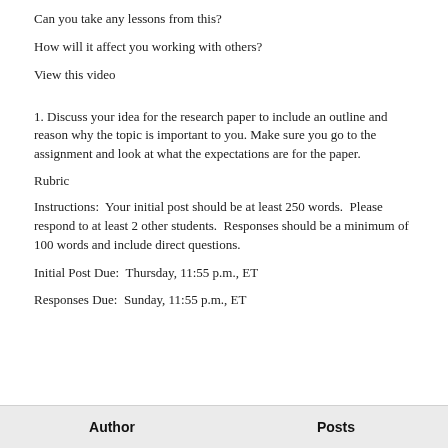Can you take any lessons from this?
How will it affect you working with others?
View this video
1. Discuss your idea for the research paper to include an outline and reason why the topic is important to you. Make sure you go to the assignment and look at what the expectations are for the paper.
Rubric
Instructions:  Your initial post should be at least 250 words.  Please respond to at least 2 other students.  Responses should be a minimum of 100 words and include direct questions.
Initial Post Due:  Thursday, 11:55 p.m., ET
Responses Due:  Sunday, 11:55 p.m., ET
| Author | Posts |
| --- | --- |